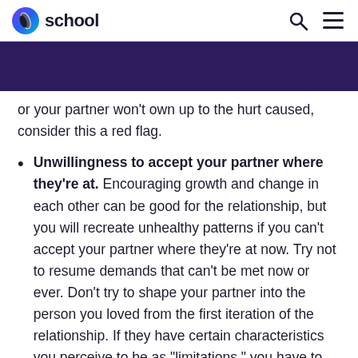school
or your partner won't own up to the hurt caused, consider this a red flag.
Unwillingness to accept your partner where they're at. Encouraging growth and change in each other can be good for the relationship, but you will recreate unhealthy patterns if you can't accept your partner where they're at now. Try not to resume demands that can't be met now or ever. Don't try to shape your partner into the person you loved from the first iteration of the relationship. If they have certain characteristics you perceive to be as "limitations," you have to decide within